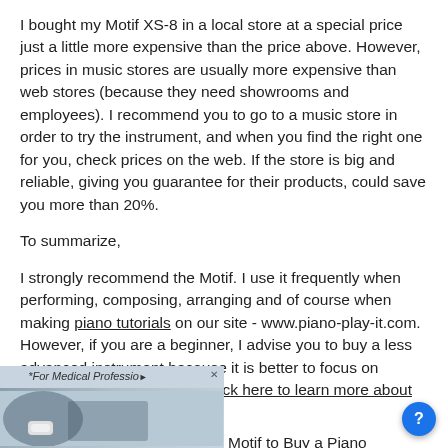I bought my Motif XS-8 in a local store at a special price just a little more expensive than the price above. However, prices in music stores are usually more expensive than web stores (because they need showrooms and employees). I recommend you to go to a music store in order to try the instrument, and when you find the right one for you, check prices on the web. If the store is big and reliable, giving you guarantee for their products, could save you more than 20%.
To summarize,
I strongly recommend the Motif. I use it frequently when performing, composing, arranging and of course when making piano tutorials on our site - www.piano-play-it.com. However, if you are a beginner, I advise you to buy a less advanced instrument because it is better to focus on acquiring basic skills first. (Click here to learn more about basic Yamaha keyboards).
Return from Yamaha Motif to Buy a Piano
[Figure (photo): Advertisement banner showing a person in a blue medical uniform with a small device, labeled '*For Medical Professio...' with a close button]